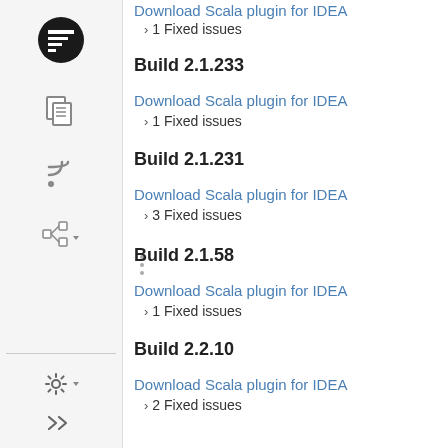Download Scala plugin for IDEA
› 1 Fixed issues
Build 2.1.233
Download Scala plugin for IDEA
› 1 Fixed issues
Build 2.1.231
Download Scala plugin for IDEA
› 3 Fixed issues
Build 2.1.58
Download Scala plugin for IDEA
› 1 Fixed issues
Build 2.2.10
Download Scala plugin for IDEA
› 2 Fixed issues